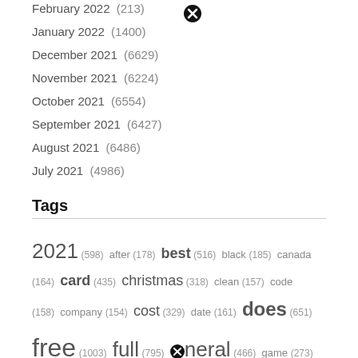February 2022 (213)
January 2022 (1400)
December 2021 (6629)
November 2021 (6224)
October 2021 (6554)
September 2021 (6427)
August 2021 (6486)
July 2021 (4986)
Tags
2021 (598) after (178) best (516) black (185) canada (164) card (435) christmas (318) clean (157) code (158) company (154) cost (329) date (161) does (651) free (1003) full (795) funeral (466) game (273)